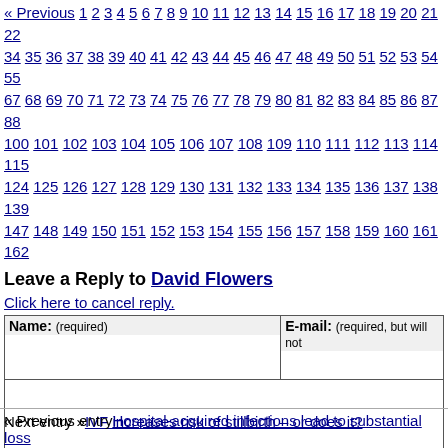« Previous 1 2 3 4 5 6 7 8 9 10 11 12 13 14 15 16 17 18 19 20 21 22 34 35 36 37 38 39 40 41 42 43 44 45 46 47 48 49 50 51 52 53 54 55 67 68 69 70 71 72 73 74 75 76 77 78 79 80 81 82 83 84 85 86 87 88 100 101 102 103 104 105 106 107 108 109 110 111 112 113 114 115 124 125 126 127 128 129 130 131 132 133 134 135 136 137 138 139 147 148 149 150 151 152 153 154 155 156 157 158 159 160 161 162
Leave a Reply to David Flowers
Click here to cancel reply.
Name: (required)   E-mail: (required, but will not...
CNN welcomes a lively and courteous discussion as long as you follow the Rules our Terms of Service. Comments are not pre-screened before they post. You agree may be used, along with your name and profile picture, in accordance with our Pri license you have granted pursuant to our Terms of Service.
Next entry »IVF increases risk of stillbirth – or does it?
« Previous entryHospital-acquired infections lead to substantial loss